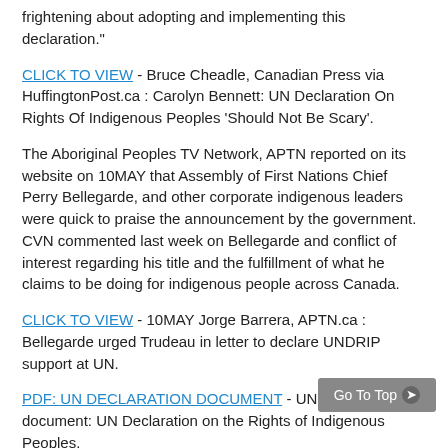frightening about adopting and implementing this declaration."
CLICK TO VIEW  - Bruce Cheadle, Canadian Press via HuffingtonPost.ca : Carolyn Bennett: UN Declaration On Rights Of Indigenous Peoples 'Should Not Be Scary'.
The Aboriginal Peoples TV Network, APTN reported on its website on 10MAY that Assembly of First Nations Chief Perry Bellegarde, and other corporate indigenous leaders were quick to praise the announcement by the government. CVN commented last week on Bellegarde and conflict of interest regarding his title and the fulfillment of what he claims to be doing for indigenous people across Canada.
CLICK TO VIEW  - 10MAY Jorge Barrera, APTN.ca : Bellegarde urged Trudeau in letter to declare UNDRIP support at UN.
PDF: UN DECLARATION DOCUMENT  - UN.org: PDF document: UN Declaration on the Rights of Indigenous Peoples.
The irony is that, even in receiving praise for embracing this declaration, the Canadian government and Minister Bennett